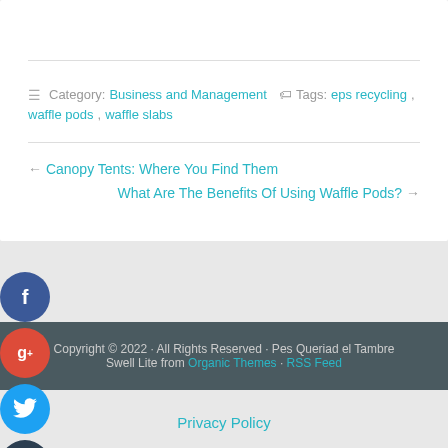Category: Business and Management  Tags: eps recycling, waffle pods, waffle slabs
← Canopy Tents: Where You Find Them
What Are The Benefits Of Using Waffle Pods? →
[Figure (illustration): Social media icons: Facebook (blue circle), Google+ (red circle), Twitter (blue circle), Plus/share (dark circle)]
Copyright © 2022 · All Rights Reserved · Pes Queriad el Tambre Swell Lite from Organic Themes · RSS Feed
Privacy Policy